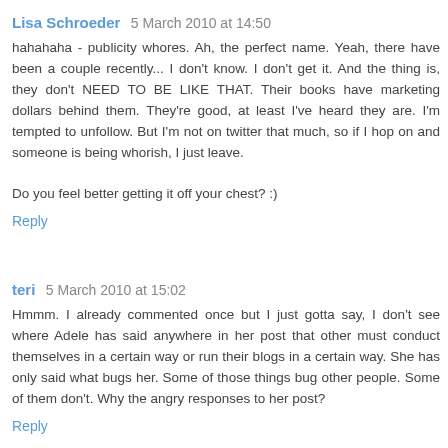Lisa Schroeder  5 March 2010 at 14:50
hahahaha - publicity whores. Ah, the perfect name. Yeah, there have been a couple recently... I don't know. I don't get it. And the thing is, they don't NEED TO BE LIKE THAT. Their books have marketing dollars behind them. They're good, at least I've heard they are. I'm tempted to unfollow. But I'm not on twitter that much, so if I hop on and someone is being whorish, I just leave.

Do you feel better getting it off your chest? :)
Reply
teri  5 March 2010 at 15:02
Hmmm. I already commented once but I just gotta say, I don't see where Adele has said anywhere in her post that other must conduct themselves in a certain way or run their blogs in a certain way. She has only said what bugs her. Some of those things bug other people. Some of them don't. Why the angry responses to her post?
Reply